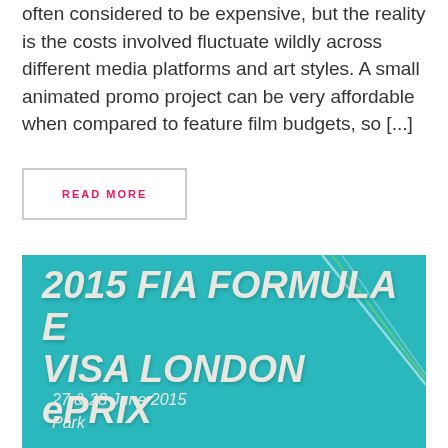often considered to be expensive, but the reality is the costs involved fluctuate wildly across different media platforms and art styles. A small animated promo project can be very affordable when compared to feature film budgets, so [...]
READ MORE
[Figure (photo): Photo of a teal/turquoise banner reading '2015 FIA FORMULA E VISA LONDON ePRIX' with '27 & 28 June 2015' and 'Park' partially visible at the bottom, white italic bold text on teal background with diagonal green/white stripe accents.]